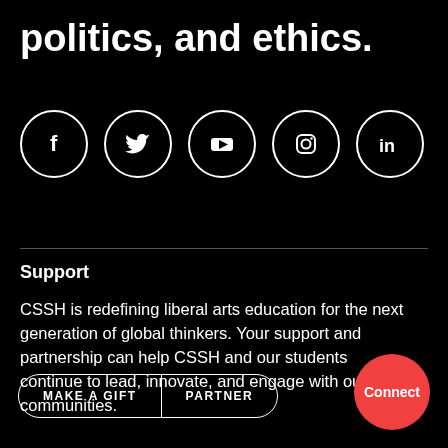politics, and ethics.
[Figure (illustration): Five social media icons in white circles on black background: Facebook (f), Twitter (bird), YouTube (play button), Instagram (camera), LinkedIn (in)]
Support
CSSH is redefining liberal arts education for the next generation of global thinkers. Your support and partnership can help CSSH and our students continue to lead, innovate, and engage with our communities.
MAKE A GIFT | PARTNER
Connect